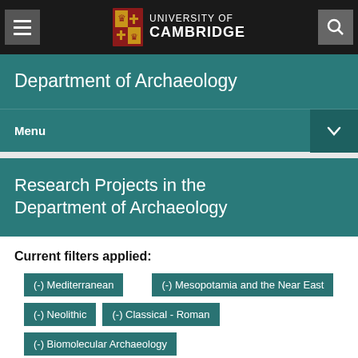University of Cambridge
Department of Archaeology
Menu
Research Projects in the Department of Archaeology
Current filters applied:
(-) Mediterranean
(-) Mesopotamia and the Near East
(-) Neolithic
(-) Classical - Roman
(-) Biomolecular Archaeology